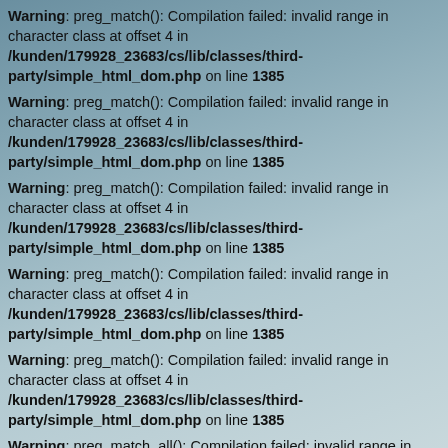Warning: preg_match(): Compilation failed: invalid range in character class at offset 4 in /kunden/179928_23683/cs/lib/classes/third-party/simple_html_dom.php on line 1385
Warning: preg_match(): Compilation failed: invalid range in character class at offset 4 in /kunden/179928_23683/cs/lib/classes/third-party/simple_html_dom.php on line 1385
Warning: preg_match(): Compilation failed: invalid range in character class at offset 4 in /kunden/179928_23683/cs/lib/classes/third-party/simple_html_dom.php on line 1385
Warning: preg_match(): Compilation failed: invalid range in character class at offset 4 in /kunden/179928_23683/cs/lib/classes/third-party/simple_html_dom.php on line 1385
Warning: preg_match(): Compilation failed: invalid range in character class at offset 4 in /kunden/179928_23683/cs/lib/classes/third-party/simple_html_dom.php on line 1385
Warning: preg_match_all(): Compilation failed: invalid range in character class at offset 4 in /kunden/179928_23683/cs/lib/classes/third-party/simple_html_dom.php on line 690
Warning: Invalid argument supplied for foreach() in /kunden/179928_23683/cs/lib/classes/third-party/simple_html_dom.php on line 697
Warning: preg_match_all(): Compilation failed: invalid range in character class at offset 4 in /kunden/179928_23683/cs/lib/classes/third-party/simple_html_dom.php on line ...